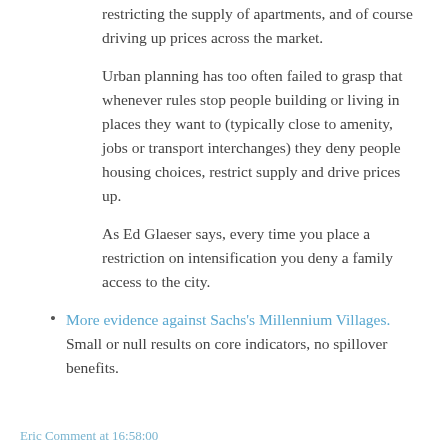restricting the supply of apartments, and of course driving up prices across the market.
Urban planning has too often failed to grasp that whenever rules stop people building or living in places they want to (typically close to amenity, jobs or transport interchanges) they deny people housing choices, restrict supply and drive prices up.
As Ed Glaeser says, every time you place a restriction on intensification you deny a family access to the city.
More evidence against Sachs's Millennium Villages. Small or null results on core indicators, no spillover benefits.
Eric Comment at 16:58:00